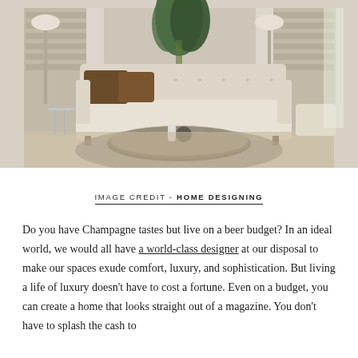[Figure (photo): Elegant living room interior with a large cream tufted sofa, round marble coffee table with decorative objects, floor lamp, bookshelves, and large tropical plants. Neutral tones with beige, gray, and brown accents.]
IMAGE CREDIT - HOME DESIGNING
Do you have Champagne tastes but live on a beer budget? In an ideal world, we would all have a world-class designer at our disposal to make our spaces exude comfort, luxury, and sophistication. But living a life of luxury doesn't have to cost a fortune. Even on a budget, you can create a home that looks straight out of a magazine. You don't have to splash the cash to